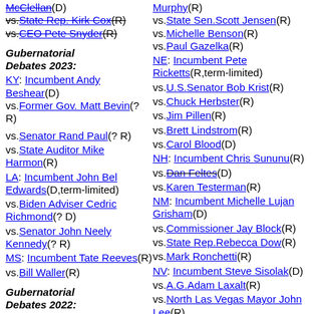McClellan(D) vs.State Rep. Kirk Cox(R) vs.CEO Pete Snyder(R)
Gubernatorial Debates 2023:
KY: Incumbent Andy Beshear(D) vs.Former Gov. Matt Bevin(? R)
vs.Senator Rand Paul(? R)
vs.State Auditor Mike Harmon(R)
LA: Incumbent John Bel Edwards(D,term-limited)
vs.Biden Adviser Cedric Richmond(? D)
vs.Senator John Neely Kennedy(? R)
MS: Incumbent Tate Reeves(R)
vs.Bill Waller(R)
Gubernatorial Debates 2022:
AK: Incumbent Mike Dunleavy(R)
Murphy(R) vs.State Sen.Scott Jensen(R) vs.Michelle Benson(R) vs.Paul Gazelka(R)
NE: Incumbent Pete Ricketts(R,term-limited)
vs.U.S.Senator Bob Krist(R)
vs.Chuck Herbster(R)
vs.Jim Pillen(R)
vs.Brett Lindstrom(R)
vs.Carol Blood(D)
NH: Incumbent Chris Sununu(R)
vs.Dan Feltes(D)
vs.Karen Testerman(R)
NM: Incumbent Michelle Lujan Grisham(D)
vs.Commissioner Jay Block(R)
vs.State Rep.Rebecca Dow(R)
vs.Mark Ronchetti(R)
NV: Incumbent Steve Sisolak(D)
vs.A.G.Adam Laxalt(R)
vs.North Las Vegas Mayor John Lee(R)
vs.Dean Heller(R)
vs.Joe Lombardo(R)